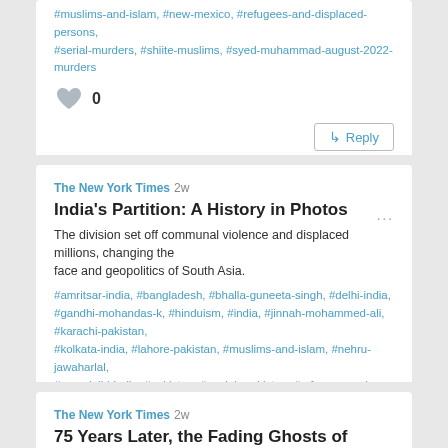#muslims-and-islam, #new-mexico, #refugees-and-displaced-persons, #serial-murders, #shiite-muslims, #syed-muhammad-august-2022-murders
0
Reply
The New York Times 2w
India's Partition: A History in Photos
The division set off communal violence and displaced millions, changing the face and geopolitics of South Asia.
#amritsar-india, #bangladesh, #bhalla-guneeta-singh, #delhi-india, #gandhi-mohandas-k, #hinduism, #india, #jinnah-mohammed-ali, #karachi-pakistan, #kolkata-india, #lahore-pakistan, #muslims-and-islam, #nehru-jawaharlal, #new-delhi-india, #pakistan, #punjab-pakistan, #refugees-and-displaced-persons
0
Reply
The New York Times 2w
75 Years Later, the Fading Ghosts of India's Bloody Partition
With the passing decades, nationalist fervor and mutual suspicion have largely replaced memories of mass death and displacement during the chaotic cleaving of Pakistan from India.